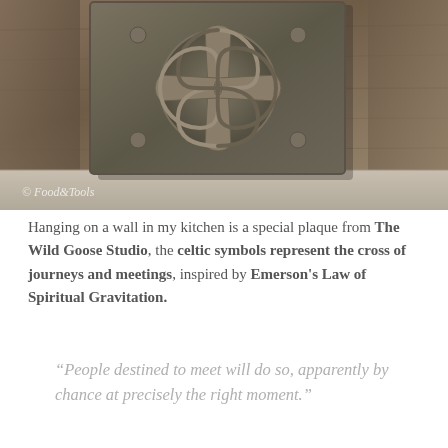[Figure (photo): Close-up photograph of a Celtic knot plaque with a cross/pinwheel design, set against wooden background. Watermark reads '© Food & Tools' in italic script.]
Hanging on a wall in my kitchen is a special plaque from The Wild Goose Studio, the celtic symbols represent the cross of journeys and meetings, inspired by Emerson's Law of Spiritual Gravitation.
“People destined to meet will do so, apparently by chance at precisely the right moment.”